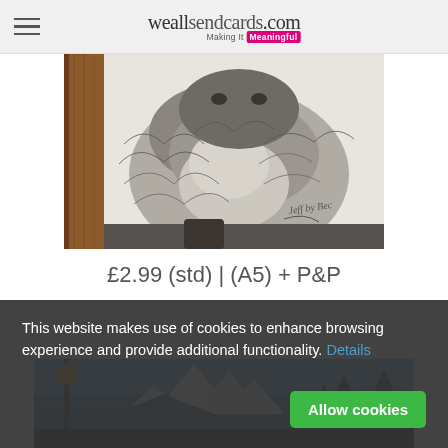weallsendcards.com — Making It Meaningful
[Figure (photo): Close-up pencil/charcoal drawing of a fluffy animal (likely a cat or small creature) with an artist signature in the lower right. Black and white sketch style on paper with wooden textured element on the left.]
£2.99 (std) | (A5) + P&P
[Figure (photo): Colorful painting of a mountain landscape scene with a lantern on a post, snow-capped peaks, blue sky, and trees. Vibrant blues, oranges, greens and browns.]
This website makes use of cookies to enhance browsing experience and provide additional functionality. Details
Allow cookies